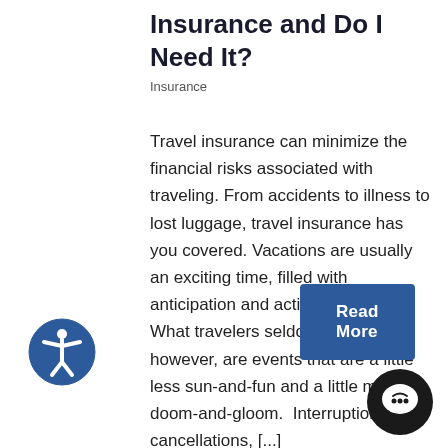Insurance and Do I Need It?
Insurance
Travel insurance can minimize the financial risks associated with traveling. From accidents to illness to lost luggage, travel insurance has you covered. Vacations are usually an exciting time, filled with anticipation and activity planning. What travelers seldom plan for, however, are events that are a little less sun-and-fun and a little more doom-and-gloom.  Interruptions, cancellations, [...]
[Figure (illustration): Accessibility icon: blue circle with white human figure with outstretched arms]
Read More
[Figure (illustration): Chat bubble icon: black circle with white speech bubble and smiley face]